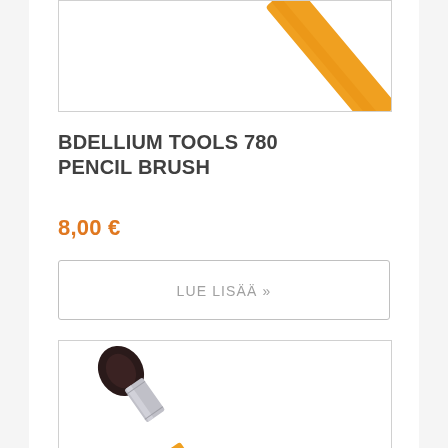[Figure (photo): Partial view of a makeup brush with a yellow/orange handle, cropped at the top of the page.]
BDELLIUM TOOLS 780 PENCIL BRUSH
8,00 €
LUE LISÄÄ »
[Figure (photo): A makeup pencil brush with a round dark bristle head, silver ferrule, and yellow handle with 'bdellium' text on it, shown at an angle.]